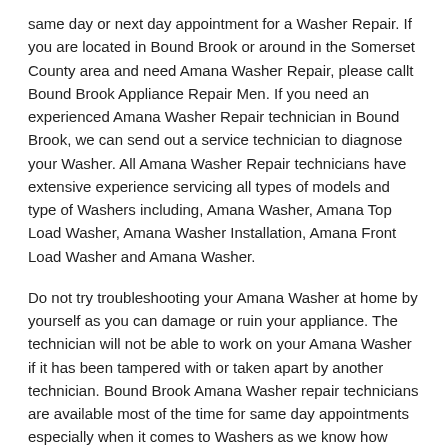same day or next day appointment for a Washer Repair. If you are located in Bound Brook or around in the Somerset County area and need Amana Washer Repair, please callt Bound Brook Appliance Repair Men. If you need an experienced Amana Washer Repair technician in Bound Brook, we can send out a service technician to diagnose your Washer. All Amana Washer Repair technicians have extensive experience servicing all types of models and type of Washers including, Amana Washer, Amana Top Load Washer, Amana Washer Installation, Amana Front Load Washer and Amana Washer.
Do not try troubleshooting your Amana Washer at home by yourself as you can damage or ruin your appliance. The technician will not be able to work on your Amana Washer if it has been tampered with or taken apart by another technician. Bound Brook Amana Washer repair technicians are available most of the time for same day appointments especially when it comes to Washers as we know how important it is to service quickly.
Below are some types of Amana Washers we service in the Bound Brook Somerset County area
Amana Top Load Washer repair Bound Brook